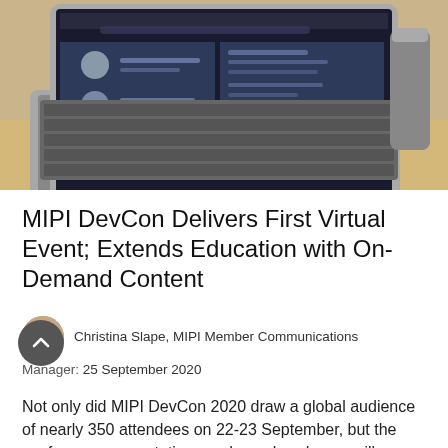[Figure (photo): Photograph of an open MacBook laptop on a wooden desk showing a video conferencing application on screen, with a metal bottle in the background. Warm beige/tan background.]
MIPI DevCon Delivers First Virtual Event; Extends Education with On-Demand Content
Christina Slape, MIPI Member Communications Manager: 25 September 2020
Not only did MIPI DevCon 2020 draw a global audience of nearly 350 attendees on 22-23 September, but the conference presentations and member demos will continue to offer